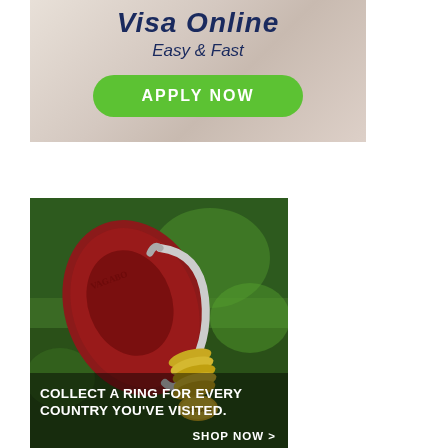[Figure (illustration): Advertisement banner for Visa Online service showing 'Visa Online Easy & Fast' text in dark navy italic font on a blurred beige/taupe background, with a large green rounded rectangle button labeled 'APPLY NOW' in white uppercase text.]
[Figure (photo): Advertisement photo for Vagabond travel rings showing a close-up of a burgundy leather keyring/carabiner clip holding multiple gold rings, one of which is labeled 'AUSTRALIA', set against a green grass background. Text overlay reads 'COLLECT A RING FOR EVERY COUNTRY YOU'VE VISITED.' with 'SHOP NOW >' in the bottom right.]